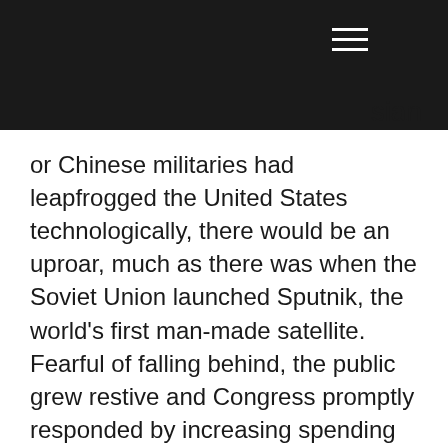sian or Chinese militaries had leapfrogged the United States technologically, there would be an uproar, much as there was when the Soviet Union launched Sputnik, the world's first man-made satellite. Fearful of falling behind, the public grew restive and Congress promptly responded by increasing spending for NASA and bolstering science-education programs. These initiatives paid handsome dividends 11 years later when Neil Armstrong set foot on the moon, arriving courtesy not only of a new space vehicle but thousands of patented new technologies that strengthened U.S. industry and